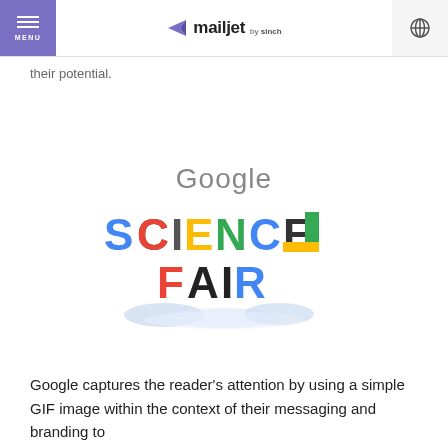MENU | mailjet by sinch
their potential.
[Figure (logo): Google Science Fair logo with colorful letters spelling 'SCIENCE FAIR' below the word 'Google' in grey text, with decorative mountain/cloud imagery at the base]
Google captures the reader's attention by using a simple GIF image within the context of their messaging and branding to